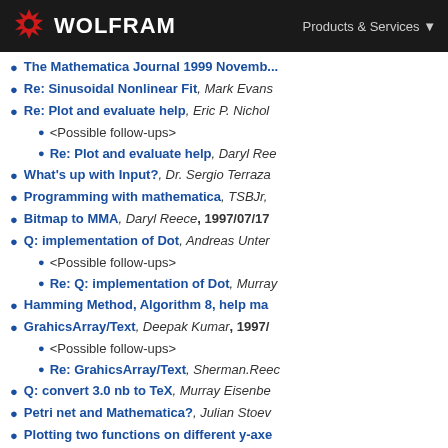WOLFRAM | Products & Services
Re: Sinusoidal Nonlinear Fit, Mark Evans
Re: Plot and evaluate help, Eric P. Nichols
<Possible follow-ups>
Re: Plot and evaluate help, Daryl Reece
What's up with Input?, Dr. Sergio Terraza
Programming with mathematica, TSBJr,
Bitmap to MMA, Daryl Reece, 1997/07/17
Q: implementation of Dot, Andreas Unter
<Possible follow-ups>
Re: Q: implementation of Dot, Murray
Hamming Method, Algorithm 8, help ma
GrahicsArray/Text, Deepak Kumar, 1997/
<Possible follow-ups>
Re: GrahicsArray/Text, Sherman.Reece
Q: convert 3.0 nb to TeX, Murray Eisenbe
Petri net and Mathematica?, Julian Stoev
Plotting two functions on different y-axe